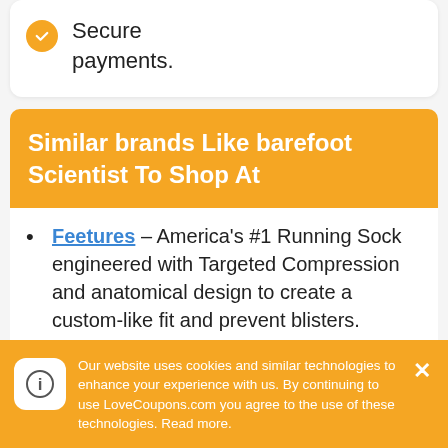Secure payments.
Similar brands Like barefoot Scientist To Shop At
Feetures – America's #1 Running Sock engineered with Targeted Compression and anatomical design to create a custom-like fit and prevent blisters.
Happy Feet Plus – Happy Feet Plus has been providing health and comfort sandals,
Our website uses cookies and similar technologies to enhance your experience with us. By continuing to use LoveCoupons.com you agree to the use of these technologies. Read more.